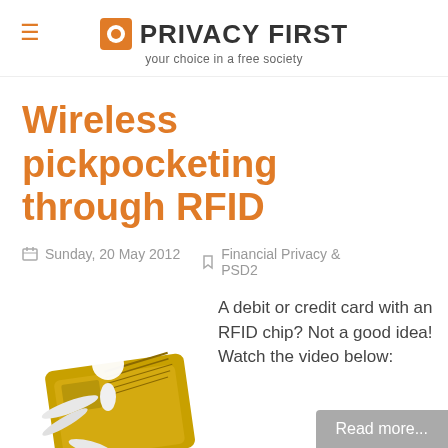≡ PRIVACY FIRST your choice in a free society
Wireless pickpocketing through RFID
Sunday, 20 May 2012   Financial Privacy & PSD2
[Figure (photo): A 3D white figure person trapped or pinned under a gold credit card with RFID chip, illustrating wireless pickpocketing risk.]
A debit or credit card with an RFID chip? Not a good idea! Watch the video below:
Read more...